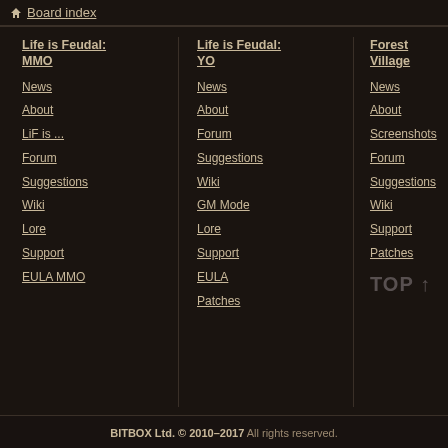Board index
Life is Feudal: MMO
News
About
LiF is ...
Forum
Suggestions
Wiki
Lore
Support
EULA MMO
Life is Feudal: YO
News
About
Forum
Suggestions
Wiki
GM Mode
Lore
Support
EULA
Patches
Forest Village
News
About
Screenshots
Forum
Suggestions
Wiki
Support
Patches
BITBOX Ltd. © 2010–2017 All rights reserved.